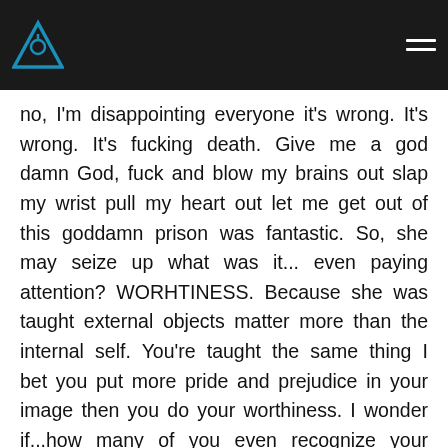then click. Oh my god, I'm a fucking girl. Oh fuck. How is that possible? My psychiatric blow your brains out? ...
no, I'm disappointing everyone it's wrong. It's wrong. It's fucking death. Give me a god damn God, fuck and blow my brains out slap my wrist pull my heart out let me get out of this goddamn prison was fantastic. So, she may seize up what was it... even paying attention? WORHTINESS. Because she was taught external objects matter more than the internal self. You're taught the same thing I bet you put more pride and prejudice in your image then you do your worthiness. I wonder if...how many of you even recognize your worthiness is your cause you're clever? Is your worthiness because you have retirement? Because you look for other people to validate your worthiness? Well then you need a big old fat fuck combust to get back to fuck man fuck land fuck me fuck me fuck